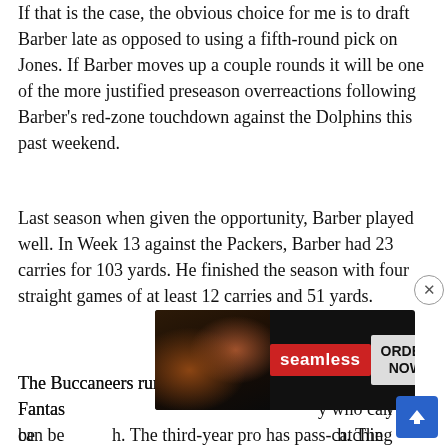If that is the case, the obvious choice for me is to draft Barber late as opposed to using a fifth-round pick on Jones. If Barber moves up a couple rounds it will be one of the more justified preseason overreactions following Barber's red-zone touchdown against the Dolphins this past weekend.
Last season when given the opportunity, Barber played well. In Week 13 against the Packers, Barber had 23 carries for 103 yards. He finished the season with four straight games of at least 12 carries and 51 yards.
The Buccaneers running backs have been valuable Fantasy... Pearlman... who can be... h. The third-year pro has pass-catching skills that can keep
[Figure (other): Seamless food delivery advertisement overlay with pizza image on left, red Seamless logo in center, and ORDER NOW button on right]